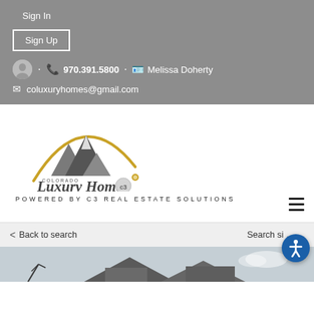Sign In
Sign Up
970.391.5800 · Melissa Doherty
coluxuryhomes@gmail.com
[Figure (logo): Colorado Luxury Homes logo with mountain illustration and gold arc, text reads 'COLORADO Luxury Homes' with C3 badge]
POWERED BY C3 REAL ESTATE SOLUTIONS
Back to search
Search si...
[Figure (photo): Partial view of a house exterior against a grey sky]